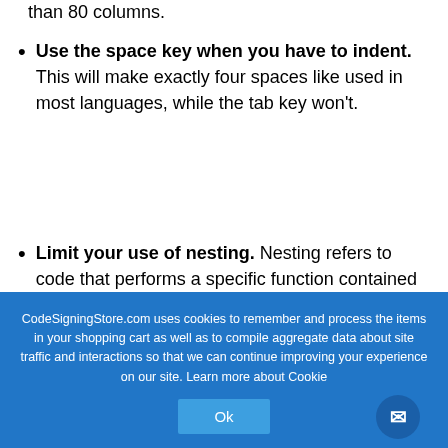than 80 columns.
Use the space key when you have to indent. This will make exactly four spaces like used in most languages, while the tab key won't.
Limit your use of nesting. Nesting refers to code that performs a specific function contained within another code with a broader function and how that code is formatted. A good nesting limit is no more than four levels.
CodeSigningStore.com uses cookies to remember and process the items in your shopping cart as well as to compile aggregate data about site traffic and interactions so that we can continue improving your experience on our site. Learn more about Cookie
Ok